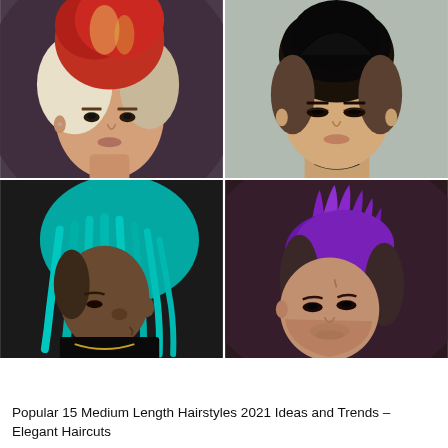[Figure (photo): 2x2 grid of four male hairstyle photos: top-left shows a young man with red and blonde undercut/mohawk style hair, top-right shows an Asian man with dark slicked-up undercut hair, bottom-left shows a person with long teal/turquoise dreadlocks and fade cut, bottom-right shows a man with purple spiky mohawk fade hairstyle.]
Popular 15 Medium Length Hairstyles 2021 Ideas and Trends – Elegant Haircuts